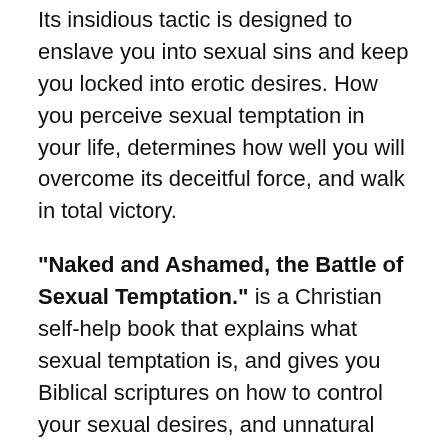Its insidious tactic is designed to enslave you into sexual sins and keep you locked into erotic desires. How you perceive sexual temptation in your life, determines how well you will overcome its deceitful force, and walk in total victory.
"Naked and Ashamed, the Battle of Sexual Temptation." is a Christian self-help book that explains what sexual temptation is, and gives you Biblical scriptures on how to control your sexual desires, and unnatural urges.  With chapters such as recognizing the tempter, and rejecting the flesh, you will study strategies on how to recognize situations that tempts you, and learn how to keep your flesh under subjection. Although we will all be tempted sexually at some time, we can learn from this book on how to refrain from overreacting and falling into sexual bondage. So put on your seatbelt and get ready to be free from all of your unwanted sexual desires and temptations.  Order "Naked and Ashamed, The